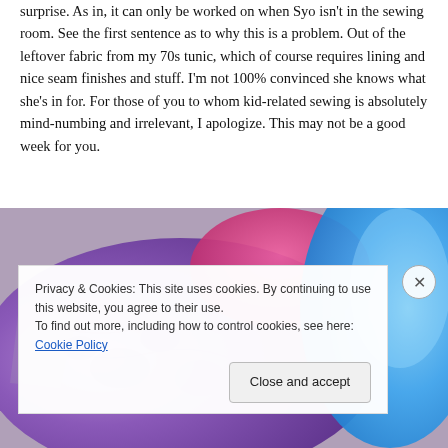surprise. As in, it can only be worked on when Syo isn't in the sewing room. See the first sentence as to why this is a problem. Out of the leftover fabric from my 70s tunic, which of course requires lining and nice seam finishes and stuff. I'm not 100% convinced she knows what she's in for. For those of you to whom kid-related sewing is absolutely mind-numbing and irrelevant, I apologize. This may not be a good week for you.
[Figure (photo): Photo of colorful fabric pieces laid on a surface — purple fabric with floral print, bright pink, and blue fabric visible.]
Privacy & Cookies: This site uses cookies. By continuing to use this website, you agree to their use.
To find out more, including how to control cookies, see here: Cookie Policy